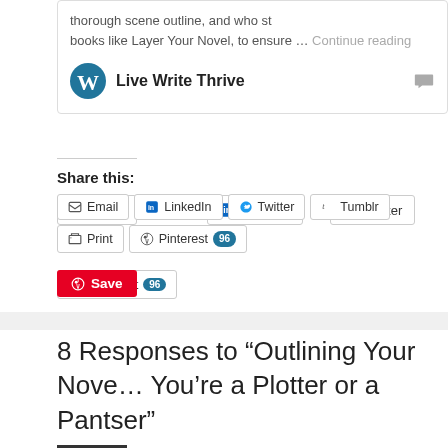thorough scene outline, and who st books like Layer Your Novel, to ensure … Continue reading
Live Write Thrive
Share this:
Email
LinkedIn
Twitter
Tumblr
Print
Pinterest 96
Save
8 Responses to “Outlining Your Novel Whether You’re a Plotter or a Pantser”